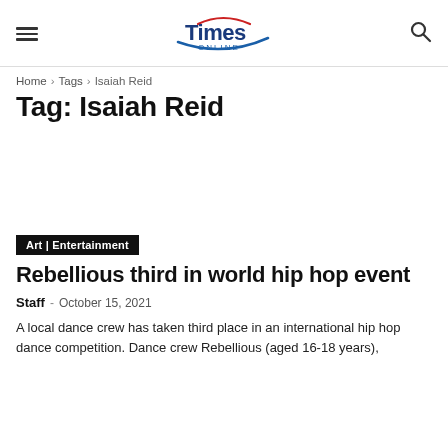Times Online
Home › Tags › Isaiah Reid
Tag: Isaiah Reid
Art | Entertainment
Rebellious third in world hip hop event
Staff · October 15, 2021
A local dance crew has taken third place in an international hip hop dance competition. Dance crew Rebellious (aged 16-18 years),